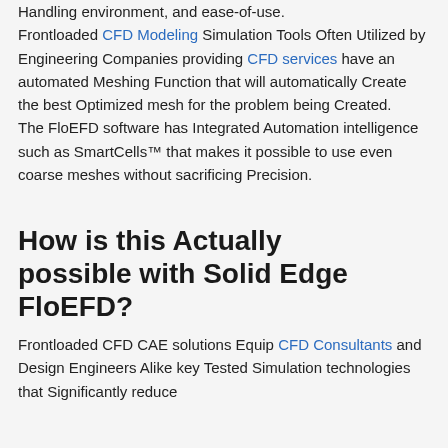Handling environment, and ease-of-use. Frontloaded CFD Modeling Simulation Tools Often Utilized by Engineering Companies providing CFD services have an automated Meshing Function that will automatically Create the best Optimized mesh for the problem being Created. The FloEFD software has Integrated Automation intelligence such as SmartCells™ that makes it possible to use even coarse meshes without sacrificing Precision.
How is this Actually possible with Solid Edge FloEFD?
Frontloaded CFD CAE solutions Equip CFD Consultants and Design Engineers Alike key Tested Simulation technologies that Significantly reduce